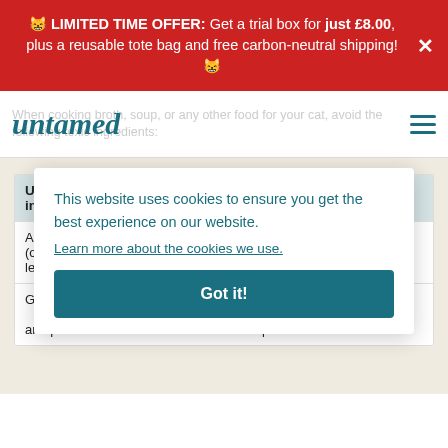🐱 LIMITED TIME OFFER: Get a trial box for just £8.00, plus a reusable tote bag and free carbon-neutral shipping! 🐱
untamed
When cooking broth, soup, or any other food for your cat, avoid the following toxic ingredients:
| Unsafe ingred… | Related health risks |
| --- | --- |
| Allium (onion, leeks, e… |  |
| Green t… |  |
| and potatoes | because of a poisonous alkaloid |
This website uses cookies to ensure you get the best experience on our website.
Learn more about the cookies we use.
Got it!